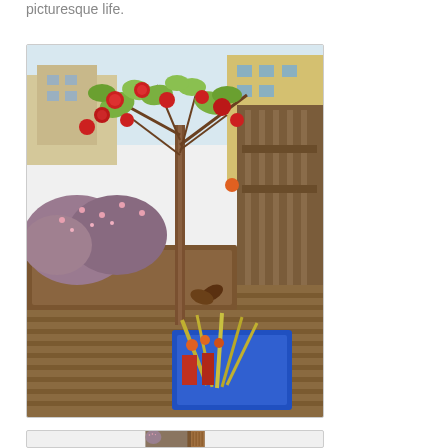picturesque life.
[Figure (photo): A rooftop deck garden with a small flowering tree (red blooms) in a wooden planter box, pink flowering shrubs, colorful plants in a blue container, and a wooden fence/railing in the background. Buildings visible in the distance.]
[Figure (photo): Partial view of a similar rooftop deck garden scene with pink flowering plants and wooden post/railing, partially cropped at bottom of page.]